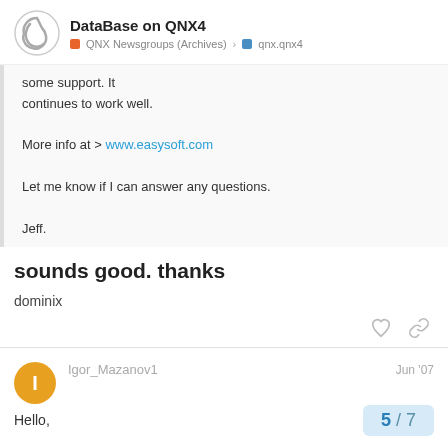DataBase on QNX4 | QNX Newsgroups (Archives) > qnx.qnx4
some support. It continues to work well.

More info at > www.easysoft.com

Let me know if I can answer any questions.

Jeff.
sounds good. thanks
dominix
Igor_Mazanov1   Jun '07
Hello,
5 / 7